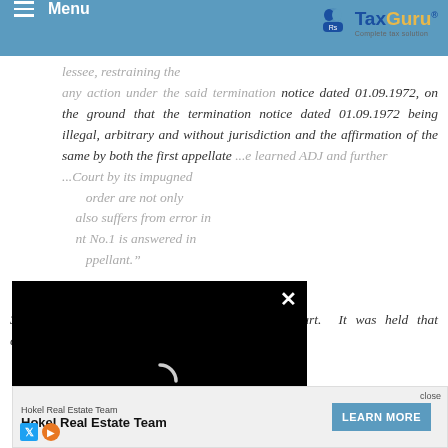Menu | TaxGuru - Complete Tax Solution
lessee, restraining the... any action under the said termination notice dated 01.09.1972, on the ground that the termination notice dated 01.09.1972 being illegal, arbitrary and without jurisdiction and the affirmation of the same by both the first appellate ...e learned ADJ and further ...Court by its impugned ...order are not only ...also suffers from error in ...nt No.1 is answered in ...ppellant."
[Figure (screenshot): Black video player overlay with loading spinner and close (X) button]
38. Thereafter, question-2 was considered by Court. It was held that compromise decree ...ment ...the
[Figure (infographic): Advertisement banner: Hokel Real Estate Team with LEARN MORE button and close option]